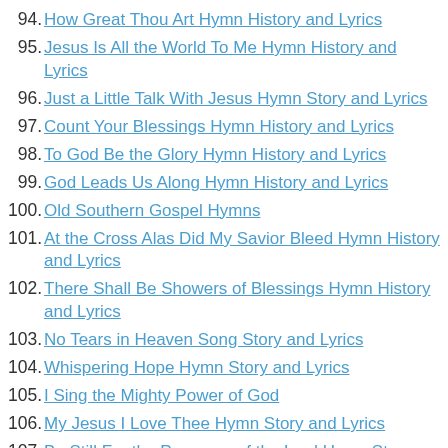94. How Great Thou Art Hymn History and Lyrics
95. Jesus Is All the World To Me Hymn History and Lyrics
96. Just a Little Talk With Jesus Hymn Story and Lyrics
97. Count Your Blessings Hymn History and Lyrics
98. To God Be the Glory Hymn History and Lyrics
99. God Leads Us Along Hymn History and Lyrics
100. Old Southern Gospel Hymns
101. At the Cross Alas Did My Savior Bleed Hymn History and Lyrics
102. There Shall Be Showers of Blessings Hymn History and Lyrics
103. No Tears in Heaven Song Story and Lyrics
104. Whispering Hope Hymn Story and Lyrics
105. I Sing the Mighty Power of God
106. My Jesus I Love Thee Hymn Story and Lyrics
107. Be Still For the Presence of the Lord Hymn Story and Lyrics
108. The Great Speckled Bird History and Lyrics
109. He Keeps Me Singing Hymn Story and Lyrics
110. Turn Your Eyes Upon Jesus Hymn Story and Lyrics.
111. How Deep the Father's Love For Us Hymn